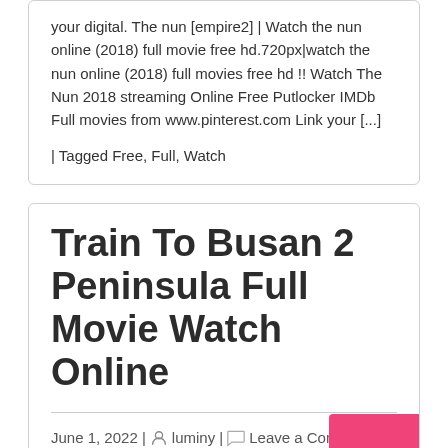your digital. The nun [empire2] | Watch the nun online (2018) full movie free hd.720px|watch the nun online (2018) full movies free hd !! Watch The Nun 2018 streaming Online Free Putlocker IMDb Full movies from www.pinterest.com Link your [...]
| Tagged Free, Full, Watch
Train To Busan 2 Peninsula Full Movie Watch Online
June 1, 2022 | luminy | Leave a Comment
[Figure (other): Broken image placeholder with alt text: Train To Busan 2 Peninsula Full Movie Watch Online]